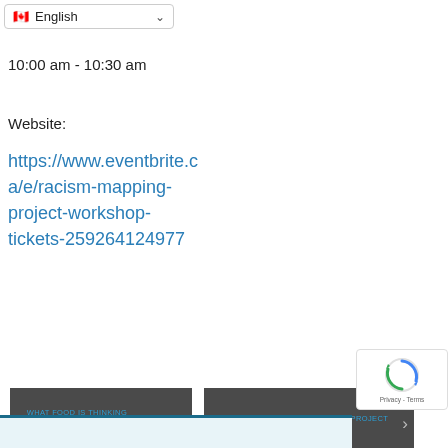[Figure (screenshot): Language selector dropdown showing Canadian flag emoji and 'English' with dropdown arrow, styled as a form select element]
10:00 am - 10:30 am
Website:
https://www.eventbrite.ca/e/racism-mapping-project-workshop-tickets-259264124977
[Figure (screenshot): Two dark navigation buttons side by side with left and right arrows and blue link text showing previous and next post navigation]
[Figure (logo): Google reCAPTCHA badge with spinning arrows logo and 'Privacy - Terms' text]